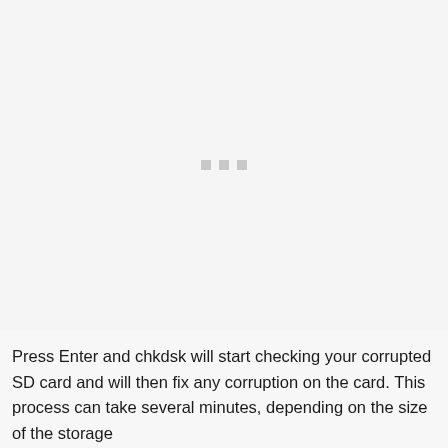[Figure (screenshot): Screenshot placeholder area showing three small gray squares/dots in the center, representing a loading or placeholder state for a screenshot image.]
Press Enter and chkdsk will start checking your corrupted SD card and will then fix any corruption on the card. This process can take several minutes, depending on the size of the storage